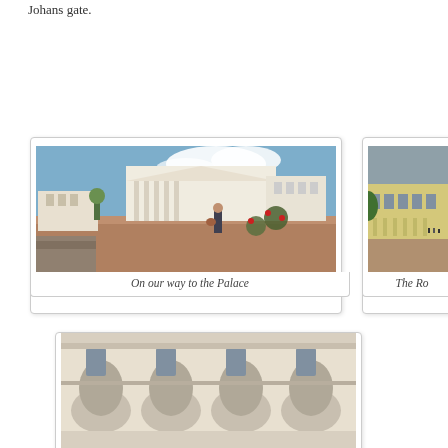Johans gate.
[Figure (photo): A woman standing in a large square plaza in front of a neoclassical white building with columns (University of Oslo). Blue sky with clouds. Red flowers in the foreground.]
On our way to the Palace
[Figure (photo): A large neoclassical yellow palace building (Royal Palace) with columns, viewed from the front across a wide gravel plaza. Partially cut off on the right side of the page.]
The Ro
[Figure (photo): Close-up of ornate neoclassical building facade with arched windows and decorative stonework, viewed from below. Partially cut off at the bottom of the page.]